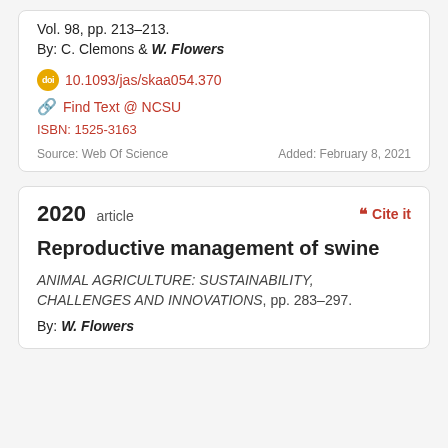Vol. 98, pp. 213–213.
By: C. Clemons & W. Flowers
10.1093/jas/skaa054.370
Find Text @ NCSU
ISBN: 1525-3163
Source: Web Of Science    Added: February 8, 2021
2020 article
Cite it
Reproductive management of swine
ANIMAL AGRICULTURE: SUSTAINABILITY, CHALLENGES AND INNOVATIONS, pp. 283–297.
By: W. Flowers